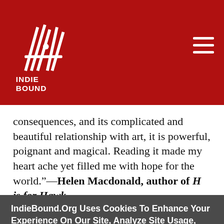[Figure (logo): IndieBound logo — stylized book/wing graphic in white on red background with 'INDIE BOUND' text below in white]
consequences, and its complicated and beautiful relationship with art, it is powerful, poignant and magical. Reading it made my heart ache yet filled me with hope for the world."—Helen Macdonald, author of H is for Hawk
IndieBound.Org Uses Cookies To Enhance Your Experience On Our Site, Analyze Site Usage, And Assist In Our Marketing Efforts. By Clicking Accept, You Agree To The Storing Of Cookies On Your Device. View Our Cookie Policy.
Give me more info
Accept all Cookies